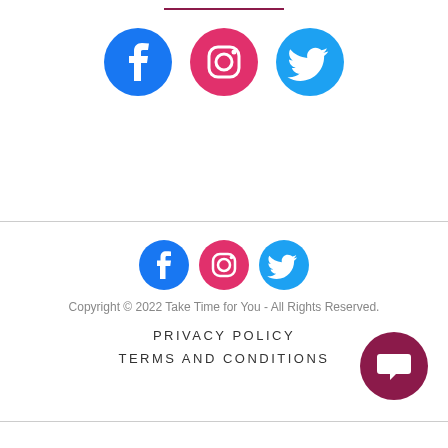[Figure (illustration): Three social media icons (Facebook, Instagram, Twitter) large size centered at top]
[Figure (illustration): Three social media icons (Facebook, Instagram, Twitter) smaller size centered in footer section]
Copyright © 2022 Take Time for You - All Rights Reserved.
PRIVACY POLICY
TERMS AND CONDITIONS
[Figure (illustration): Dark magenta circle with white chat/speech bubble icon, bottom right corner]